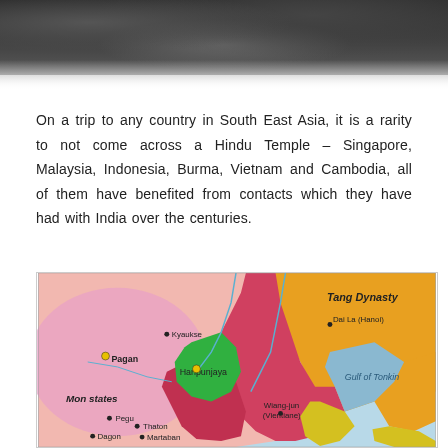[Figure (photo): Dark textured stone or rock surface photo at top of page, fading to white at bottom]
On a trip to any country in South East Asia, it is a rarity to not come across a Hindu Temple – Singapore, Malaysia, Indonesia, Burma, Vietnam and Cambodia, all of them have benefited from contacts which they have had with India over the centuries.
[Figure (map): Historical map of Southeast Asia circa 9th century showing Tang Dynasty territory in orange/yellow, Mon states in pink, Haripunjaya in green, red regions, blue water bodies including Gulf of Tonkin, with labeled cities: Pagan (yellow dot), Kyaukse, Pegu, Thaton, Dagon, Martaban, Haripunjaya (yellow dot), Wiang-jun (Vientiane), Dai La (Hanoi)]